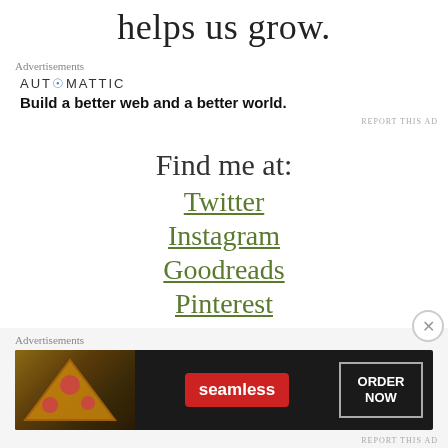helps us grow.
Advertisements
[Figure (logo): Automattic logo with tagline: Build a better web and a better world.]
REPORT THIS AD
Find me at:
Twitter
Instagram
Goodreads
Pinterest
Advertisements
[Figure (screenshot): Seamless food delivery advertisement showing pizza image with Seamless logo and ORDER NOW button on dark background.]
REPORT THIS AD